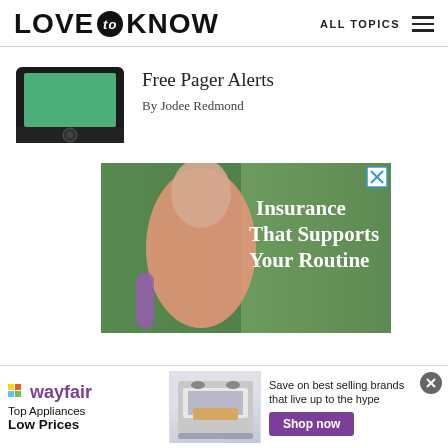LOVE to KNOW   ALL TOPICS
[Figure (photo): Pager/tablet device with green screen and black frame]
Free Pager Alerts
By Jodee Redmond
[Figure (photo): Advertisement: Woman carrying yoga mat outdoors with text 'Insurance That Supports Your Routine']
[Figure (photo): Wayfair advertisement: Top Appliances Low Prices, Save on best selling brands that live up to the hype, Shop now]